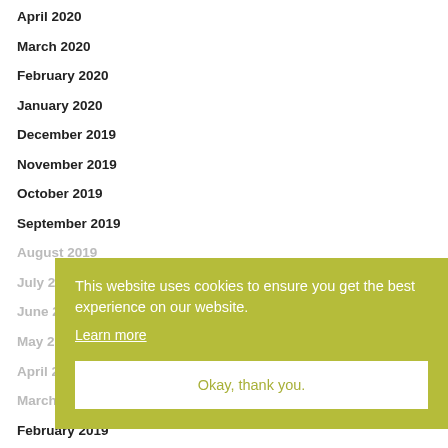April 2020
March 2020
February 2020
January 2020
December 2019
November 2019
October 2019
September 2019
August 2019
July 2019
June 2019
May 2019
April 2019
March 2019
February 2019
This website uses cookies to ensure you get the best experience on our website. Learn more Okay, thank you.